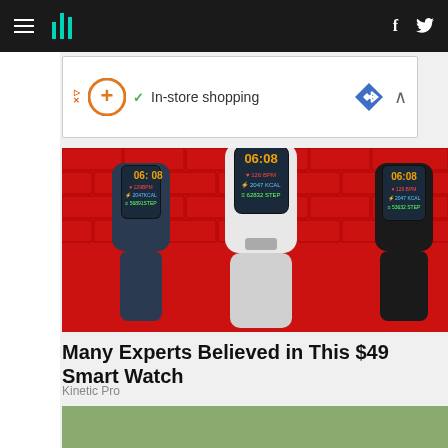HuffPost navigation bar with hamburger menu, logo, Facebook and Twitter icons
[Figure (screenshot): Advertisement banner: orange circle plus icon, green checkmark, 'In-store shopping' text, blue diamond arrow icon]
[Figure (photo): Three fitness smart watches displayed against a red brick wall background showing time 06:08, heart rate, calories, and steps data]
Many Experts Believed in This $49 Smart Watch
Kinetic Pro
[Figure (photo): Aerial view of flooded village with houses partially submerged in brown flood water surrounded by trees]